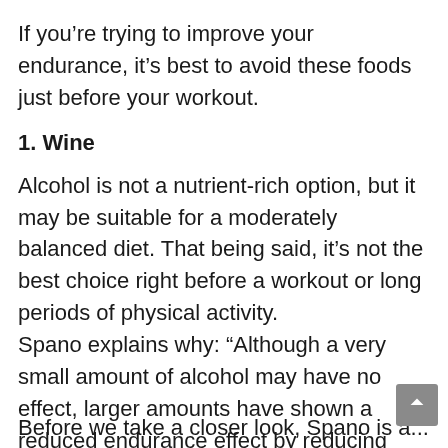If you're trying to improve your endurance, it's best to avoid these foods just before your workout.
1. Wine
Alcohol is not a nutrient-rich option, but it may be suitable for a moderately balanced diet. That being said, it's not the best choice right before a workout or long periods of physical activity.
Spano explains why: “Although a very small amount of alcohol may have no effect, larger amounts have shown a reduced endurance effect by reducing power output. It also has a diuretic effect. This can contribute to dehydration, which can reduce endurance, especially in heat.”
Before we take a closer look, Spano is a...